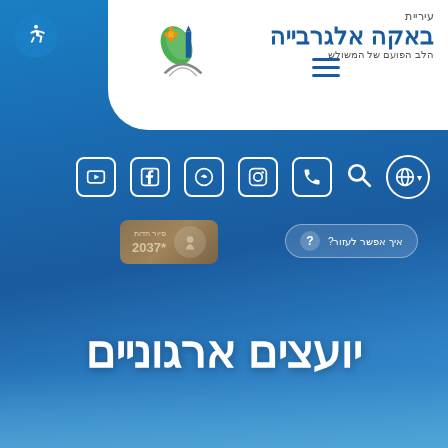[Figure (logo): Municipality of Baka Al-Gharbiyye logo with city skyline and floral icon]
עיריית באקה אלגרבייה - הלב הפועם של המשולש
[Figure (screenshot): Navigation bar with language globe, search, phone, Instagram, WhatsApp, Facebook, YouTube icons]
[Figure (logo): 2037 smart city badge]
[Figure (infographic): Help button: איך אפשר לעזור?]
יועצים ארגוניים